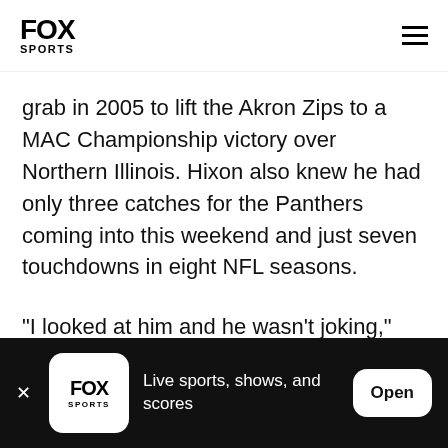FOX SPORTS
grab in 2005 to lift the Akron Zips to a MAC Championship victory over Northern Illinois. Hixon also knew he had only three catches for the Panthers coming into this weekend and just seven touchdowns in eight NFL seasons.
"I looked at him and he wasn't joking," Hixon told FOX Sports by phone after he, yes, caught the game-winning touchdown on a sliding, 14-yard grab in front
FOX SPORTS — Live sports, shows, and scores — Open